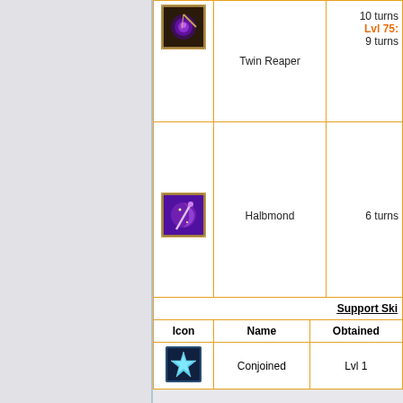| Icon | Name | Cooldown |
| --- | --- | --- |
| [Twin Reaper icon] | Twin Reaper | 10 turns / Lvl 75: / 9 turns |
| [Halbmond icon] | Halbmond | 6 turns |
| Support Ski... |
| --- |
| Icon | Name | Obtained |
| --- | --- | --- |
| [Conjoined icon] | Conjoined | Lvl 1 |